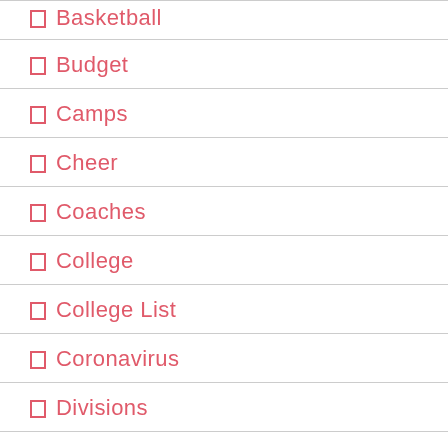Basketball
Budget
Camps
Cheer
Coaches
College
College List
Coronavirus
Divisions
Ele...